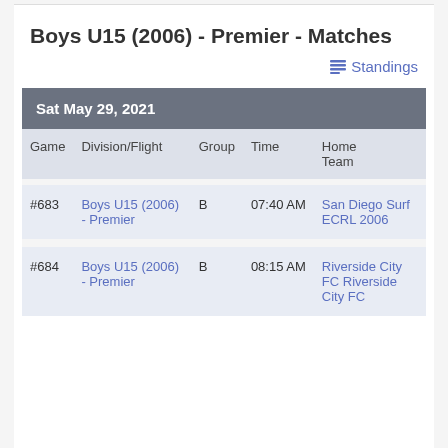Boys U15 (2006) - Premier - Matches
Standings
| Game | Division/Flight | Group | Time | Home Team |
| --- | --- | --- | --- | --- |
| #683 | Boys U15 (2006) - Premier | B | 07:40 AM | San Diego Surf ECRL 2006 |
| #684 | Boys U15 (2006) - Premier | B | 08:15 AM | Riverside City FC Riverside City FC |